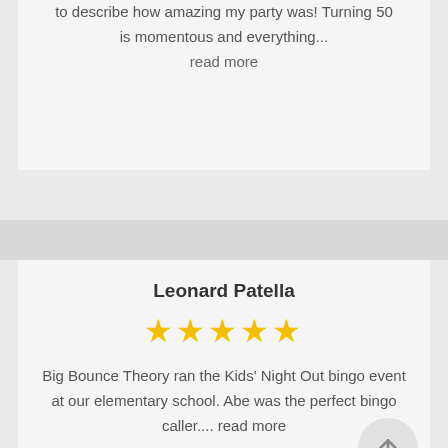to describe how amazing my party was! Turning 50 is momentous and everything… read more
Leonard Patella
[Figure (other): 5 gold stars rating]
Big Bounce Theory ran the Kids' Night Out bingo event at our elementary school. Abe was the perfect bingo caller.... read more